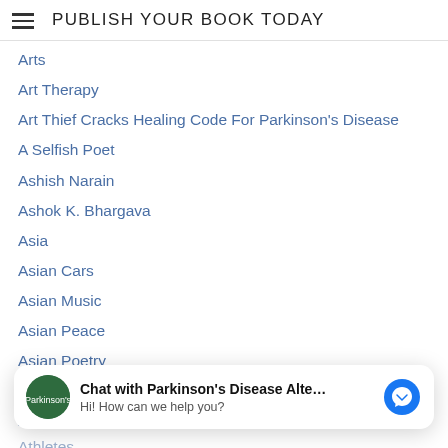PUBLISH YOUR BOOK TODAY
Arts
Art Therapy
Art Thief Cracks Healing Code For Parkinson's Disease
A Selfish Poet
Ashish Narain
Ashok K. Bhargava
Asia
Asian Cars
Asian Music
Asian Peace
Asian Poetry
Asia Voight
Asmabi College
A Society Of Souls
Chat with Parkinson's Disease Alte...
Hi! How can we help you?
A Stoned Career
Athletes